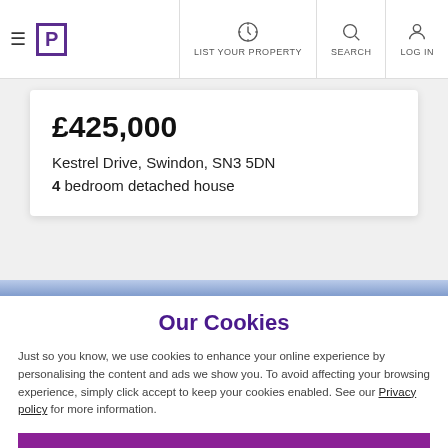≡  [P]   LIST YOUR PROPERTY   SEARCH   LOG IN
£425,000
Kestrel Drive, Swindon, SN3 5DN
4 bedroom detached house
Our Cookies
Just so you know, we use cookies to enhance your online experience by personalising the content and ads we show you. To avoid affecting your browsing experience, simply click accept to keep your cookies enabled. See our Privacy policy for more information.
Accept cookies
Manage my settings